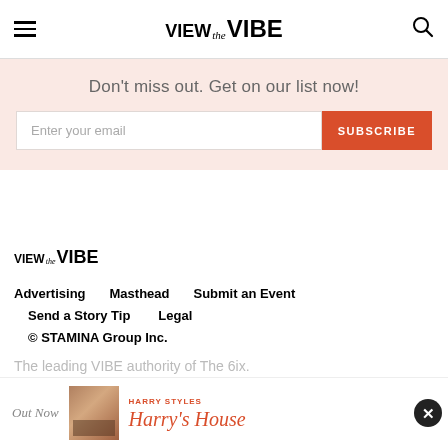VIEW the VIBE
Don't miss out. Get on our list now!
Enter your email | SUBSCRIBE
[Figure (logo): VIEW the VIBE logo in footer]
Advertising
Masthead
Submit an Event
Send a Story Tip
Legal
© STAMINA Group Inc.
The leading VIBE authority of The 6ix.
[Figure (other): Harry Styles Harry's House advertisement banner with Out Now text and album cover image]